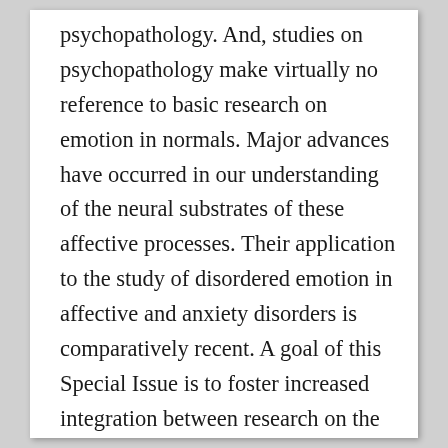psychopathology. And, studies on psychopathology make virtually no reference to basic research on emotion in normals. Major advances have occurred in our understanding of the neural substrates of these affective processes. Their application to the study of disordered emotion in affective and anxiety disorders is comparatively recent. A goal of this Special Issue is to foster increased integration between research on the neural mechanisms underlying normal emotion and disordered emotion in depression and anxiety-related illnesses. It features exemplars of the